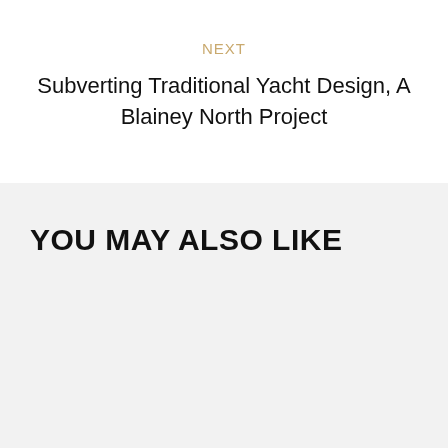NEXT
Subverting Traditional Yacht Design, A Blainey North Project
YOU MAY ALSO LIKE